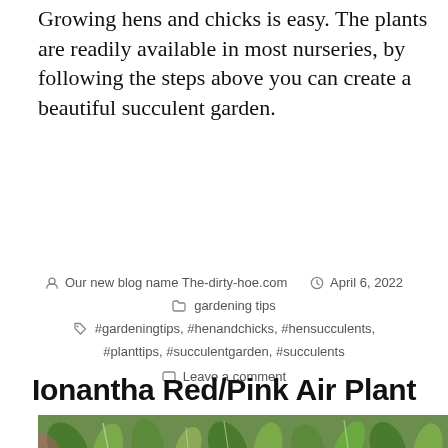Growing hens and chicks is easy. The plants are readily available in most nurseries, by following the steps above you can create a beautiful succulent garden.
By Our new blog name The-dirty-hoe.com   April 6, 2022   gardening tips   #gardeningtips, #henandchicks, #hensucculents, #planttips, #succulentgarden, #succulents   Leave a comment
Ionantha Red/Pink Air Plant
[Figure (photo): Close-up photo of green air plants (Tillandsia ionantha) with spiky leaves, visible at bottom of page]